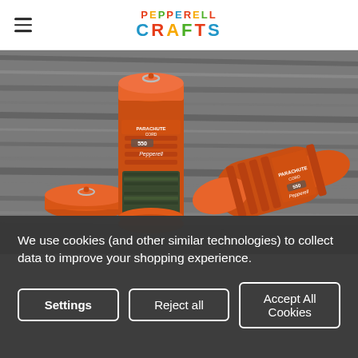PEPPERELL CRAFTS
[Figure (photo): Two orange anodized aluminum paracord spool dispensers labeled 'Parachute Cord 550 Pepperell', one standing upright with green cord, one lying on its side, and the detached orange cap with keyring, all resting on a weathered wood surface.]
We use cookies (and other similar technologies) to collect data to improve your shopping experience.
Settings  Reject all  Accept All Cookies